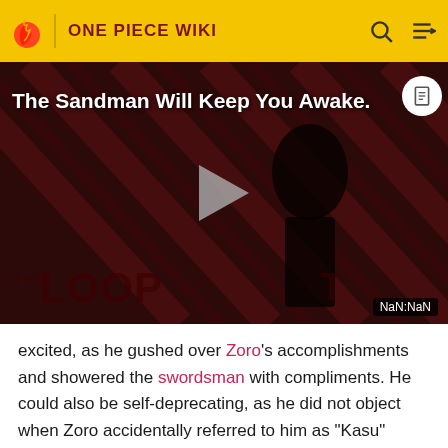ONE PIECE WIKI
[Figure (screenshot): Video thumbnail with dark red diagonal stripe background, text 'The Sandman Will Keep You Awake.' in white, a figure in black, THE LOOP logo at bottom left, play button in center, NaN:NaN timestamp badge at bottom right]
excited, as he gushed over Zoro's accomplishments and showered the swordsman with compliments. He could also be self-deprecating, as he did not object when Zoro accidentally referred to him as "Kasu" (trash) instead of "Yasu".[1]